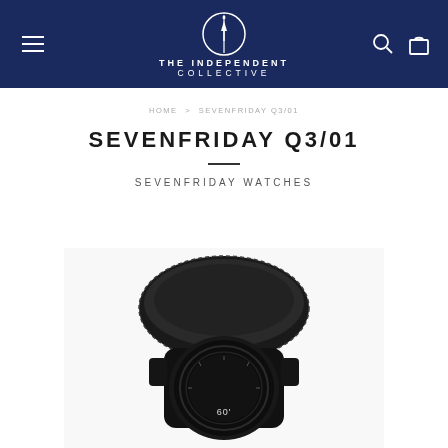THE INDEPENDENT COLLECTIVE
HOME > SEVENFRIDAY Q3/01
SEVENFRIDAY Q3/01
SEVENFRIDAY WATCHES
[Figure (photo): Close-up photo of a Sevenfriday Q3/01 watch with black leather strap and dark dial showing '60' marking, viewed from above at an angle]